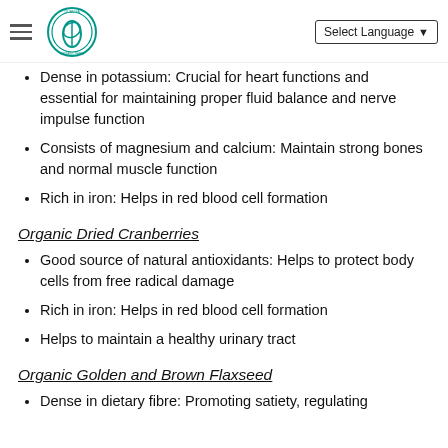Quan Fa Organic Farm — Select Language
Dense in potassium: Crucial for heart functions and essential for maintaining proper fluid balance and nerve impulse function
Consists of magnesium and calcium: Maintain strong bones and normal muscle function
Rich in iron: Helps in red blood cell formation
Organic Dried Cranberries
Good source of natural antioxidants: Helps to protect body cells from free radical damage
Rich in iron: Helps in red blood cell formation
Helps to maintain a healthy urinary tract
Organic Golden and Brown Flaxseed
Dense in dietary fibre: Promoting satiety, regulating